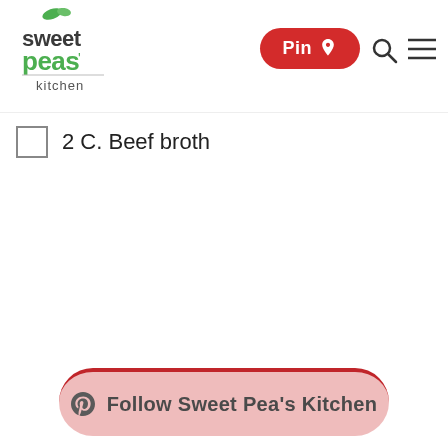Sweet Pea's Kitchen — Pin | Search | Menu
2 C. Beef broth
Follow Sweet Pea's Kitchen